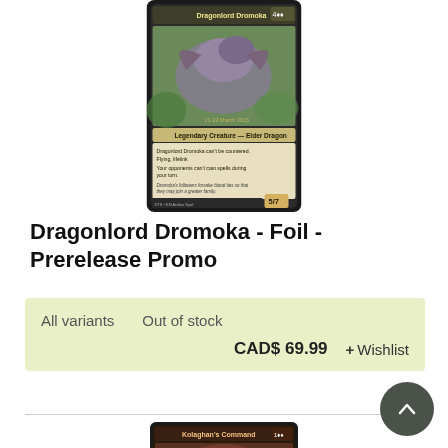[Figure (illustration): Magic: The Gathering card - Dragonlord Dromoka Foil Prerelease Promo card image showing a large dragon creature perched among trees with card text visible]
Dragonlord Dromoka - Foil - Prerelease Promo
All variants   Out of stock
CAD$ 69.99   + Wishlist
[Figure (illustration): Magic: The Gathering card - Kolaghan's Command card image showing a figure on horseback with lightning/electricity effect, prerelease promo stamp visible]